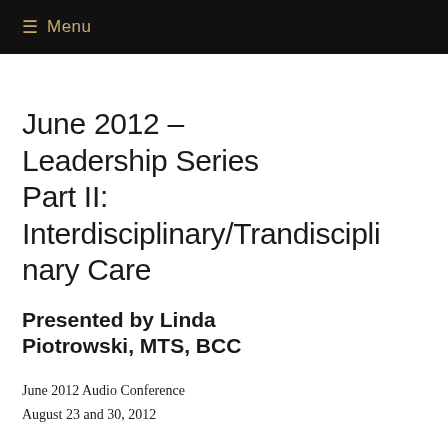≡ Menu
June 2012 – Leadership Series Part II: Interdisciplinary/Trandisciplinary Care
Presented by Linda Piotrowski, MTS, BCC
June 2012 Audio Conference
August 23 and 30, 2012